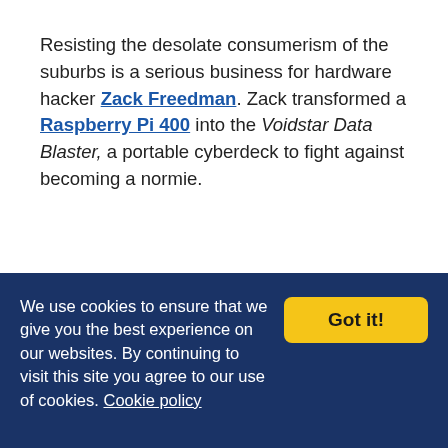Resisting the desolate consumerism of the suburbs is a serious business for hardware hacker Zack Freedman. Zack transformed a Raspberry Pi 400 into the Voidstar Data Blaster, a portable cyberdeck to fight against becoming a normie.
We use cookies to ensure that we give you the best experience on our websites. By continuing to visit this site you agree to our use of cookies. Cookie policy